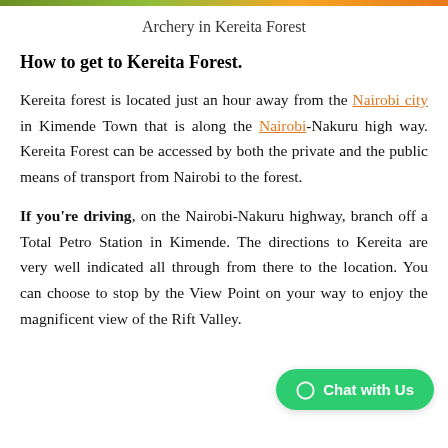Archery in Kereita Forest
How to get to Kereita Forest.
Kereita forest is located just an hour away from the Nairobi city in Kimende Town that is along the Nairobi-Nakuru high way. Kereita Forest can be accessed by both the private and the public means of transport from Nairobi to the forest.
If you're driving, on the Nairobi-Nakuru highway, branch off a Total Petro Station in Kimende. The directions to Kereita are very well indicated all through from there to the location. You can choose to stop by the View Point on your way to enjoy the magnificent view of the Rift Valley.